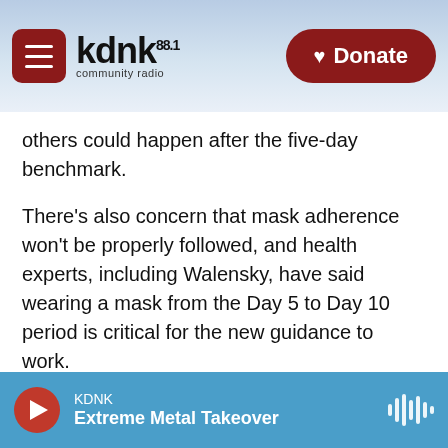KDNK 88.1 community radio — Donate
others could happen after the five-day benchmark.
There's also concern that mask adherence won't be properly followed, and health experts, including Walensky, have said wearing a mask from the Day 5 to Day 10 period is critical for the new guidance to work.
Flight attendants' concerns
But some essential workers, such as flight attendants who are at higher risk of exposure to more people, say they are hoping their workplaces
KDNK — Extreme Metal Takeover